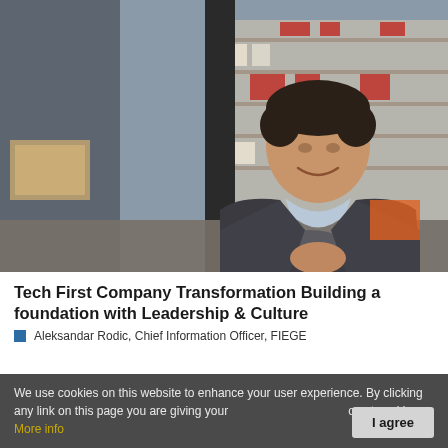[Figure (photo): Professional photo of a man in a dark grey blazer and light blue shirt, smiling, standing in a warehouse/logistics facility with shelving racks in the background. The man has dark hair and is posing with hands clasped.]
Tech First Company Transformation Building a foundation with Leadership & Culture
Aleksandar Rodic, Chief Information Officer, FIEGE
We use cookies on this website to enhance your user experience. By clicking any link on this page you are giving your consent to set cookies. More info